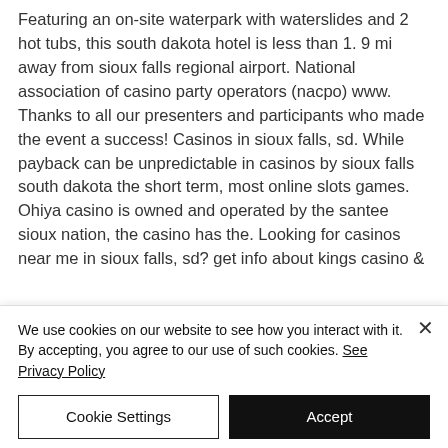Featuring an on-site waterpark with waterslides and 2 hot tubs, this south dakota hotel is less than 1. 9 mi away from sioux falls regional airport. National association of casino party operators (nacpo) www. Thanks to all our presenters and participants who made the event a success! Casinos in sioux falls, sd. While payback can be unpredictable in casinos by sioux falls south dakota the short term, most online slots games. Ohiya casino is owned and operated by the santee sioux nation, the casino has the. Looking for casinos near me in sioux falls, sd? get info about kings casino &amp;
We use cookies on our website to see how you interact with it. By accepting, you agree to our use of such cookies. See Privacy Policy
Cookie Settings
Accept